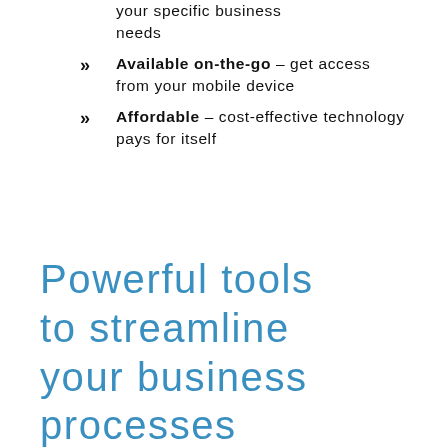your specific business needs
Available on-the-go – get access from your mobile device
Affordable – cost-effective technology pays for itself
Powerful tools to streamline your business processes